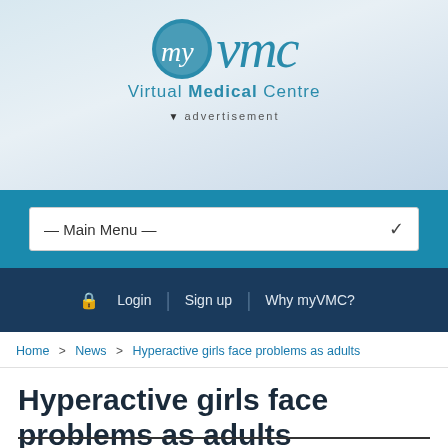[Figure (logo): myVMC Virtual Medical Centre logo with circular blue icon and teal/blue text]
advertisement
— Main Menu —
Login | Sign up | Why myVMC?
Home > News > Hyperactive girls face problems as adults
Hyperactive girls face problems as adults